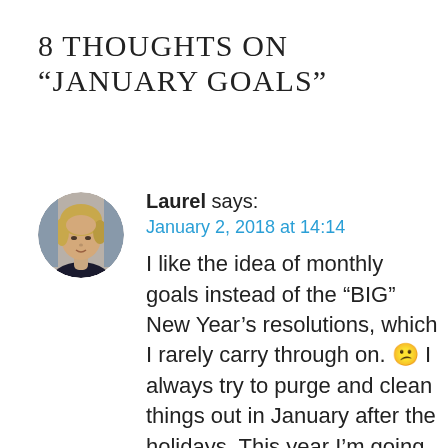8 THOUGHTS ON “JANUARY GOALS”
[Figure (photo): Circular avatar photo of a woman with short blonde hair]
Laurel says:
January 2, 2018 at 14:14
I like the idea of monthly goals instead of the “BIG” New Year’s resolutions, which I rarely carry through on. 😕 I always try to purge and clean things out in January after the holidays. This year I’m going to (again) go